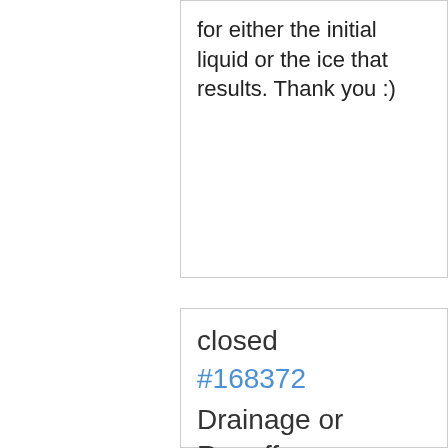for either the initial liquid or the ice that results. Thank you :)
closed
#168372
Drainage or Runoff
Case Date: 5/2/20
The storm drain at the corner of 8th & John is clogged. It is totally